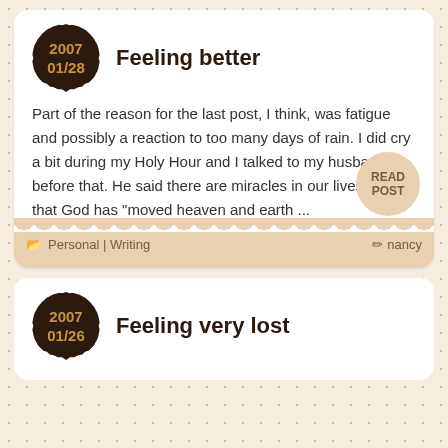Feeling better
Part of the reason for the last post, I think, was fatigue and possibly a reaction to too many days of rain. I did cry a bit during my Holy Hour and I talked to my husband before that. He said there are miracles in our lives and that God has “moved heaven and earth ...
READ POST
Personal | Writing   nancy
Feeling very lost